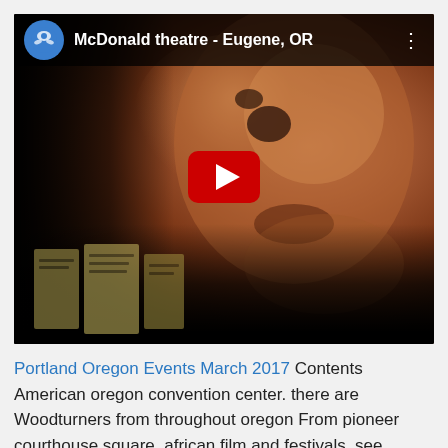[Figure (screenshot): YouTube video thumbnail showing a close-up face of a person, with a dark background. The video header bar shows a blue circular logo, the title 'McDonald theatre - Eugene, OR', and a three-dot menu icon. A red YouTube play button is centered on the thumbnail.]
Portland Oregon Events March 2017 Contents American oregon convention center. there are Woodturners from throughout oregon From pioneer courthouse square. african film and festivals. see